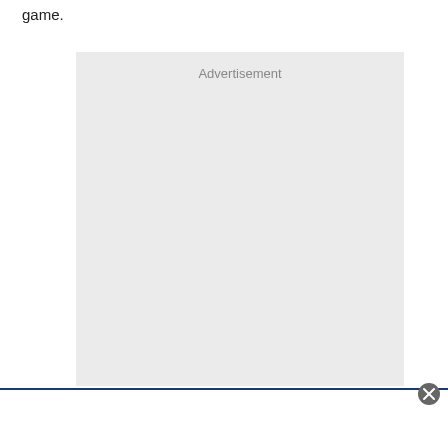game.
[Figure (other): Advertisement placeholder box with light grey background and 'Advertisement' label at top center.]
[Figure (other): Bottom bar overlay with dark blue top border and a close (X) button at top right.]